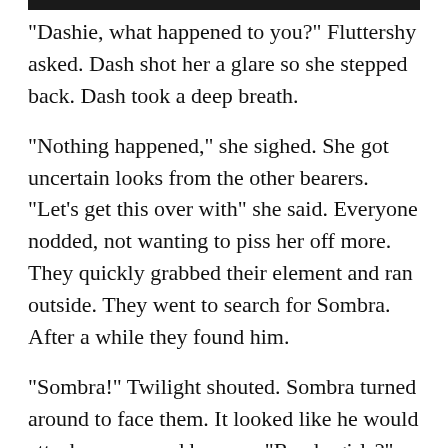"Dashie, what happened to you?" Fluttershy asked. Dash shot her a glare so she stepped back. Dash took a deep breath.
"Nothing happened," she sighed. She got uncertain looks from the other bearers.
"Let's get this over with" she said. Everyone nodded, not wanting to piss her off more. They quickly grabbed their element and ran outside. They went to search for Sombra. After a while they found him.
"Sombra!" Twilight shouted. Sombra turned around to face them. It looked like he would attack any second by now. "Ready girls?" Twilight asked. They all nodded. Sombra walked closer to them and he looked pissed.
"Dash, go!" Twilight said. A rainbow shot out of Dash's